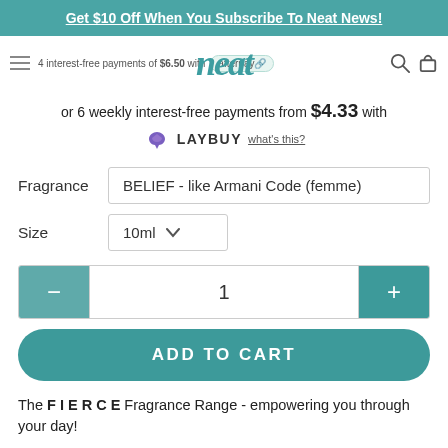Get $10 Off When You Subscribe To Neat News!
4 interest-free payments of $6.50 with afterpay
[Figure (logo): Neat script logo in teal]
or 6 weekly interest-free payments from $4.33 with LAYBUY what's this?
Fragrance   BELIEF - like Armani Code (femme)
Size   10ml
1
ADD TO CART
The FIERCE Fragrance Range - empowering you through your day!